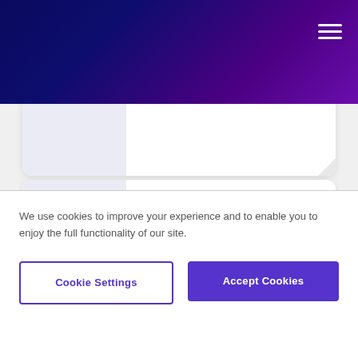Navigation header with gradient background and hamburger menu
[Figure (screenshot): Partial product card (top) with lavender left panel and white right panel with folded corner]
[Figure (screenshot): Product offer card with SALE label on left lavender panel and OFFER text with 'Shop Bridesmaid Dresses in Dozens of Beautiful Shades, from $99' on right white panel]
OFFER
Shop Bridesmaid Dresses in Dozens of Beautiful Shades, from $99
We use cookies to improve your experience and to enable you to enjoy the full functionality of our site.
Cookie Settings
Accept Cookies